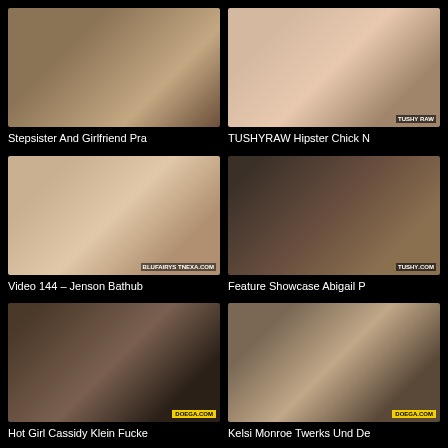[Figure (photo): Thumbnail: Stepsister And Girlfriend Pra]
Stepsister And Girlfriend Pra
[Figure (photo): Thumbnail: TUSHYRAW Hipster Chick N]
TUSHYRAW Hipster Chick N
[Figure (photo): Thumbnail: Video 144 – Jenson Bathub]
Video 144 – Jenson Bathub
[Figure (photo): Thumbnail: Feature Showcase Abigail P]
Feature Showcase Abigail P
[Figure (photo): Thumbnail: Hot Girl Cassidy Klein Fucke]
Hot Girl Cassidy Klein Fucke
[Figure (photo): Thumbnail: Kelsi Monroe Twerks Und De]
Kelsi Monroe Twerks Und De